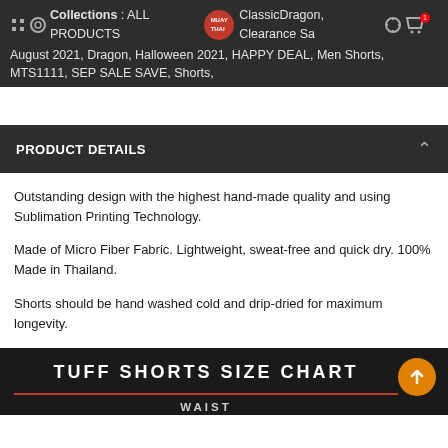Collections : ALL PRODUCTS, ClassicDragon, Clearance Sale August 2021, Dragon, Halloween 2021, HAPPY DEAL, Men Shorts, MTS1111, SEP SALE SAVE, Shorts,
PRODUCT DETAILS
Outstanding design with the highest hand-made quality and using Sublimation Printing Technology.
Made of Micro Fiber Fabric. Lightweight, sweat-free and quick dry. 100% Made in Thailand.
Shorts should be hand washed cold and drip-dried for maximum longevity.
TUFF SHORTS SIZE CHART
WAIST